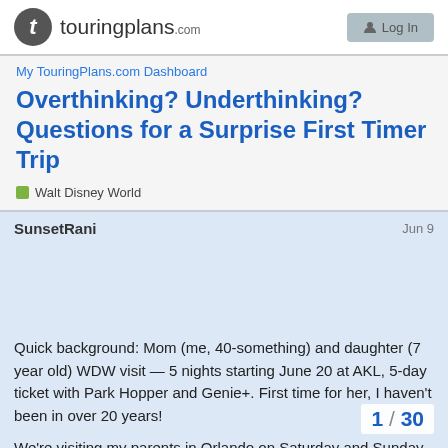touringplans.com Log In
My TouringPlans.com Dashboard
Overthinking? Underthinking? Questions for a Surprise First Timer Trip
Walt Disney World
SunsetRani  Jun 9
Quick background: Mom (me, 40-something) and daughter (7 year old) WDW visit — 5 nights starting June 20 at AKL, 5-day ticket with Park Hopper and Genie+. First time for her, I haven't been in over 20 years!
We're visiting my parents in Orlando on Saturday and Sunday, dropping my husband off at MCO on Mond flight, then heading to WDW, staying thru S
1 / 30